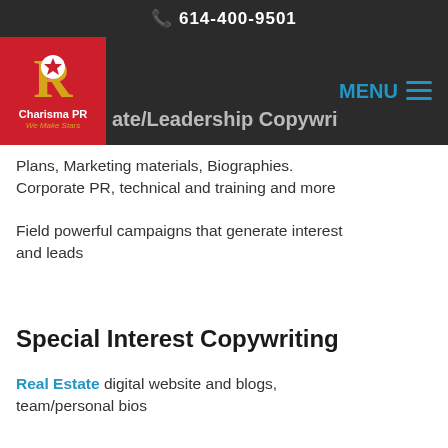614-400-9501
[Figure (logo): Charisma PR logo — red square with gold R letter, white star, text 'Charisma PR We Make Stars']
Corporate/Leadership Copywriting
Plans, Marketing materials, Biographies. Corporate PR, technical and training and more
Field powerful campaigns that generate interest and leads
Special Interest Copywriting
Real Estate digital website and blogs, team/personal bios